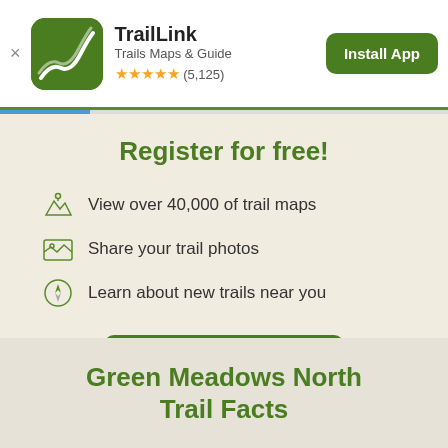TrailLink – Trails Maps & Guide ★★★★★ (5,125) – Install App
Register for free!
View over 40,000 of trail maps
Share your trail photos
Learn about new trails near you
Register Now
Green Meadows North Trail Facts